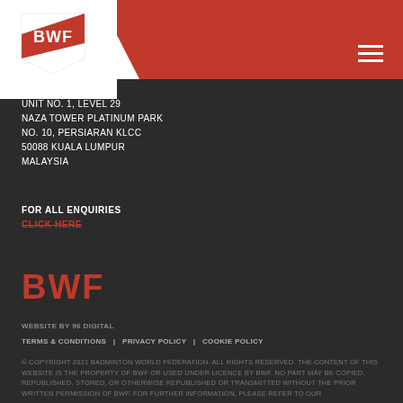BWF Fan Zone
[Figure (logo): BWF logo - white shield with red BWF text in header]
UNIT No. 1, LEVEL 29
NAZA TOWER PLATINUM PARK
No. 10, PERSIARAN KLCC
50088 KUALA LUMPUR
MALAYSIA
FOR ALL ENQUIRIES
CLICK HERE
[Figure (logo): BWF logo in red on dark background in footer]
WEBSITE BY 96 DIGITAL
TERMS & CONDITIONS  |  PRIVACY POLICY  |  COOKIE POLICY
© COPYRIGHT 2021 BADMINTON WORLD FEDERATION. ALL RIGHTS RESERVED. THE CONTENT OF THIS WEBSITE IS THE PROPERTY OF BWF OR USED UNDER LICENCE BY BWF. NO PART MAY BE COPIED, REPUBLISHED, STORED, OR OTHERWISE REPUBLISHED OR TRANSMITTED WITHOUT THE PRIOR WRITTEN PERMISSION OF BWF. FOR FURTHER INFORMATION, PLEASE REFER TO OUR